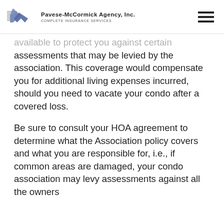Pavese-McCormick Agency, Inc. Complete Insurance Services
available to protect you against certain assessments that may be levied by the association. This coverage would compensate you for additional living expenses incurred, should you need to vacate your condo after a covered loss.
Be sure to consult your HOA agreement to determine what the Association policy covers and what you are responsible for, i.e., if common areas are damaged, your condo association may levy assessments against all the owners